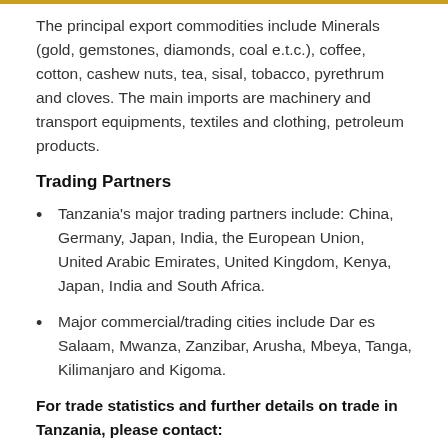The principal export commodities include Minerals (gold, gemstones, diamonds, coal e.t.c.), coffee, cotton, cashew nuts, tea, sisal, tobacco, pyrethrum and cloves. The main imports are machinery and transport equipments, textiles and clothing, petroleum products.
Trading Partners
Tanzania's major trading partners include: China, Germany, Japan, India, the European Union, United Arabic Emirates, United Kingdom, Kenya, Japan, India and South Africa.
Major commercial/trading cities include Dar es Salaam, Mwanza, Zanzibar, Arusha, Mbeya, Tanga, Kilimanjaro and Kigoma.
For trade statistics and further details on trade in Tanzania, please contact: